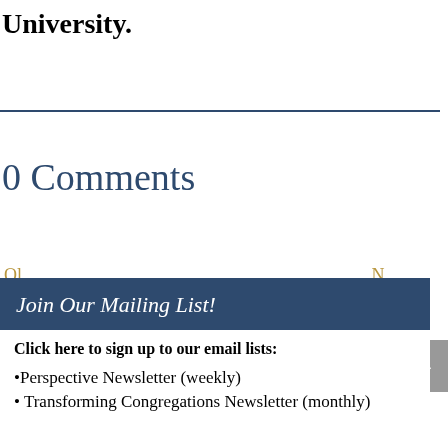University.
0 Comments
Join Our Mailing List!
Click here to sign up to our email lists:
•Perspective Newsletter (weekly)
• Transforming Congregations Newsletter (monthly)